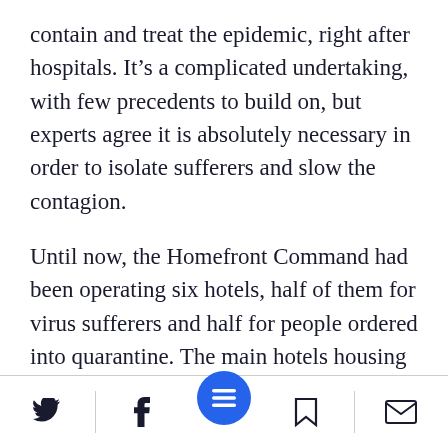contain and treat the epidemic, right after hospitals. It's a complicated undertaking, with few precedents to build on, but experts agree it is absolutely necessary in order to isolate sufferers and slow the contagion.
Until now, the Homefront Command had been operating six hotels, half of them for virus sufferers and half for people ordered into quarantine. The main hotels housing the sick have been the Dan Panorama in Tel Aviv with 800 beds and the Prima Palace in Jerusalem with 140. The Dan Hotel in Jerusalem is now